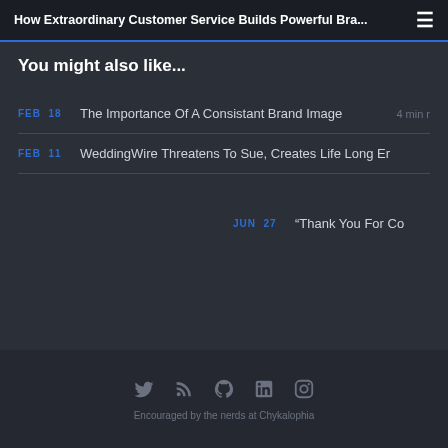How Extraordinary Customer Service Builds Powerful Bra...
You might also like...
FEB 18  The Importance Of A Consistant Brand Image  4 min r
FEB 11  WeddingWire Threatens To Sue, Creates Life Long Er
JUN 27  "Thank You For Co
Encouraged by the nerds at Chykalophia